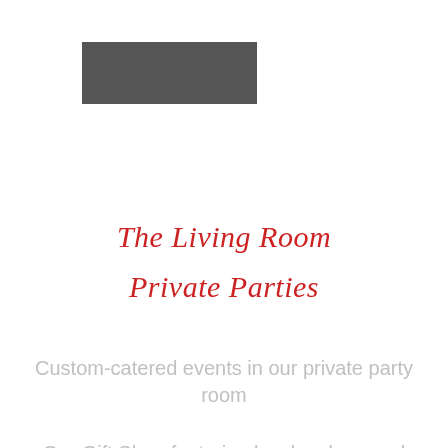[Figure (other): Dark gray/charcoal rectangular logo placeholder block]
The Living Room
Private Parties
Custom-catered events in our private party room
Our Gift Shop featuring local makers and custom curated gift bundles
[Figure (photo): Dark bowl with decorative gold and dark gear/cog designs, viewed from above, partially cropped at bottom of page]